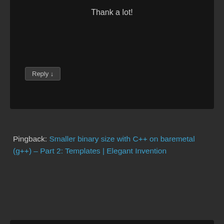Thank a lot!
Reply ↓
Pingback: Smaller binary size with C++ on baremetal (g++) – Part 2: Templates | Elegant Invention
Sirius_J on October 18, 2013 at 03:52 said:
Brilliant post!
It solved my exceptions overhead problem right away!
Thank you a lot!
Reply ↓